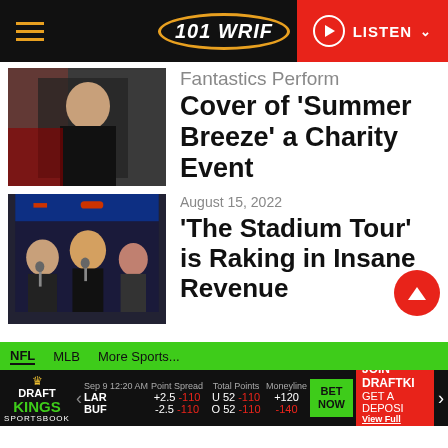101 WRIF — LISTEN
Fantastics Perform Cover of 'Summer Breeze' a Charity Event
August 15, 2022
'The Stadium Tour' is Raking in Insane Revenue
NFL  MLB  More Sports...
Sep 9 12:20 AM  Point Spread  Total Points  Moneyline  LAR +2.5 -110  U 52 -110  +120  BUF -2.5 -110  O 52 -110  -140  BET NOW  JOIN DRAFTKINGS GET A DEPOSIT  View Full Terms